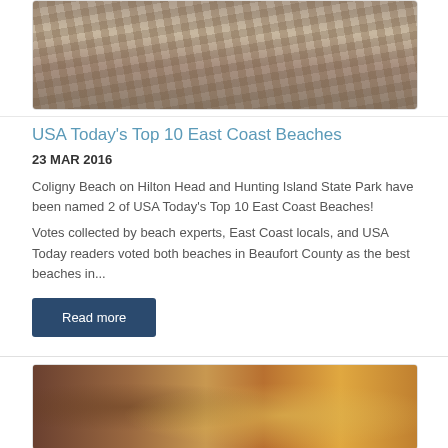[Figure (photo): Top portion of a photo showing a beach or cobblestone path scene, partially cropped at top]
USA Today's Top 10 East Coast Beaches
23 MAR 2016
Coligny Beach on Hilton Head and Hunting Island State Park have been named 2 of USA Today's Top 10 East Coast Beaches!
Votes collected by beach experts, East Coast locals, and USA Today readers voted both beaches in Beaufort County as the best beaches in...
Read more
[Figure (photo): Close-up photo of food, appears to be meat and bread or similar items, blurred/close-up style]